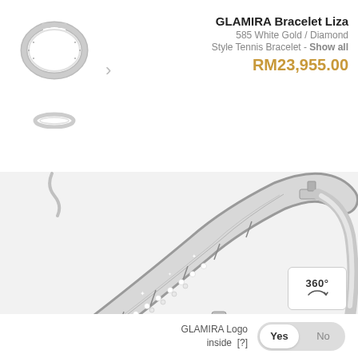[Figure (photo): Small thumbnail of GLAMIRA Bracelet Liza diamond tennis bracelet, white gold, circular view from above]
[Figure (photo): Small secondary thumbnail showing side/flat view of the bracelet]
GLAMIRA Bracelet Liza
585 White Gold / Diamond
Style Tennis Bracelet - Show all
RM23,955.00
[Figure (photo): Large close-up photo of the GLAMIRA Bracelet Liza showing the diamond-encrusted white gold tennis bracelet in detail, with sparkling diamonds and the clasp visible]
[Figure (other): 360 degree view badge icon]
GLAMIRA Logo inside [?]
Yes  No